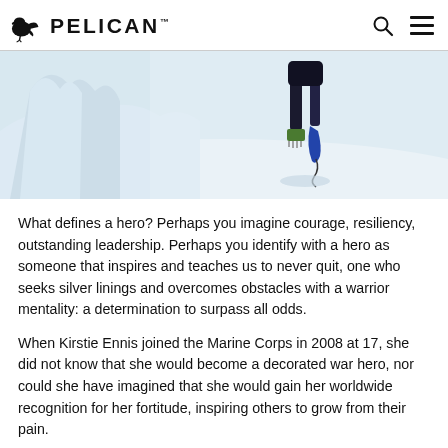PELICAN
[Figure (photo): Photo of a person with a prosthetic leg wearing crampons climbing or walking in a snowy mountain environment. Snow-covered terrain and ice formations visible.]
What defines a hero? Perhaps you imagine courage, resiliency, outstanding leadership. Perhaps you identify with a hero as someone that inspires and teaches us to never quit, one who seeks silver linings and overcomes obstacles with a warrior mentality: a determination to surpass all odds.
When Kirstie Ennis joined the Marine Corps in 2008 at 17, she did not know that she would become a decorated war hero, nor could she have imagined that she would gain her worldwide recognition for her fortitude, inspiring others to grow from their pain.